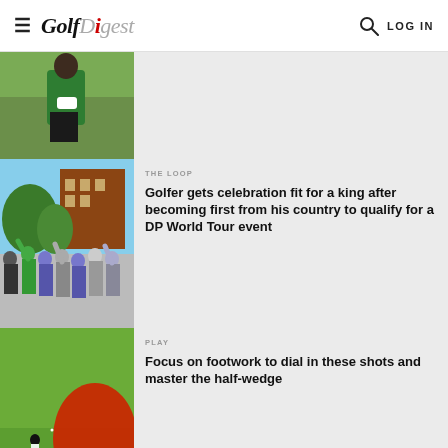Golf Digest — LOG IN
[Figure (photo): Man in green polo shirt holding a white towel on a golf course]
[Figure (photo): Crowd of people celebrating outdoors with arms raised]
THE LOOP
Golfer gets celebration fit for a king after becoming first from his country to qualify for a DP World Tour event
[Figure (photo): Golfer on fairway with large red flag in foreground]
PLAY
Focus on footwork to dial in these shots and master the half-wedge